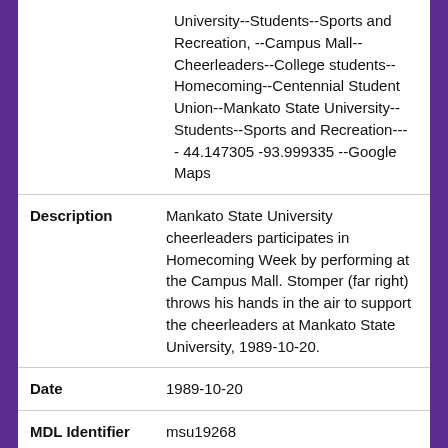University--Students--Sports and Recreation, --Campus Mall--Cheerleaders--College students--Homecoming--Centennial Student Union--Mankato State University--Students--Sports and Recreation---- 44.147305 -93.999335 --Google Maps
| Field | Value |
| --- | --- |
| Description | Mankato State University cheerleaders participates in Homecoming Week by performing at the Campus Mall. Stomper (far right) throws his hands in the air to support the cheerleaders at Mankato State University, 1989-10-20. |
| Date | 1989-10-20 |
| MDL Identifier | msu19268 |
| Identifier | MSUrepository:48473, mdl: msu19268, local: MSU-UA-309-19268 |